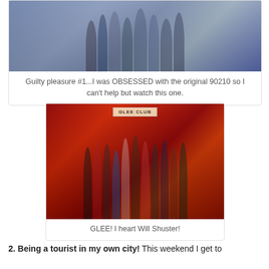[Figure (photo): Group photo of the cast of 90210 TV show, young adults posing together in fashionable outfits against a white background]
Guilty pleasure #1...I was OBSESSED with the original 90210 so I can't help but watch this one.
[Figure (photo): Group photo of the cast of Glee TV show, large ensemble cast standing in what appears to be a school auditorium with red curtains and a Glee Club sign, one cast member in a wheelchair in front]
GLEE! I heart Will Shuster!
2. Being a tourist in my own city!  This weekend I get to